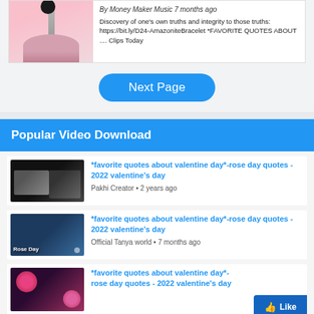[Figure (screenshot): Top partial video listing with thumbnail (pink background, lollipop and hand) and text metadata]
By Money Maker Music 7 months ago
Discovery of one's own truths and integrity to those truths: https://bit.ly/D24-AmazoniteBracelet *FAVORITE QUOTES ABOUT .... Clips Today
Next Page
Popular Video Download
[Figure (screenshot): Video thumbnail: dark background with couple and rose, Pakhi Creator]
*favorite quotes about valentine day*-rose day quotes - 2022 valentine's day
Pakhi Creator • 2 years ago
[Figure (screenshot): Video thumbnail: blue tones with couple and Rose Day text, Official Tanya world]
*favorite quotes about valentine day*-rose day quotes - 2022 valentine's day
Official Tanya world • 7 months ago
[Figure (screenshot): Video thumbnail: purple/pink tones with roses, partial view]
*favorite quotes about valentine day*-rose day quotes - 2022 valentine's day